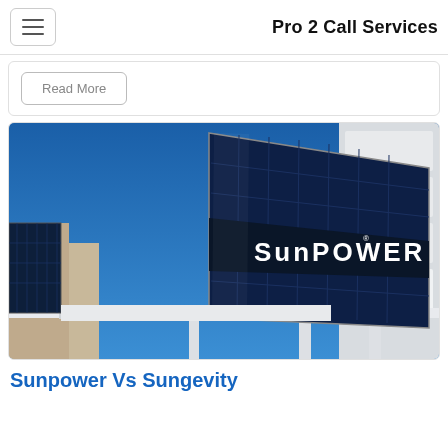Pro 2 Call Services
Read More
[Figure (photo): SunPower solar panels installed on a building facade and overhang against a blue sky, with the SUNPOWER brand name visible on a large panel display.]
Sunpower Vs Sungevity